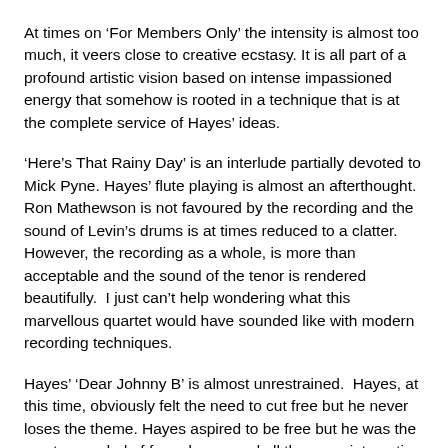At times on ‘For Members Only’ the intensity is almost too much, it veers close to creative ecstasy. It is all part of a profound artistic vision based on intense impassioned energy that somehow is rooted in a technique that is at the complete service of Hayes’ ideas.
‘Here’s That Rainy Day’ is an interlude partially devoted to Mick Pyne. Hayes’ flute playing is almost an afterthought. Ron Mathewson is not favoured by the recording and the sound of Levin’s drums is at times reduced to a clatter.  However, the recording as a whole, is more than acceptable and the sound of the tenor is rendered beautifully.  I just can’t help wondering what this marvellous quartet would have sounded like with modern recording techniques.
Hayes’ ‘Dear Johnny B’ is almost unrestrained.  Hayes, at this time, obviously felt the need to cut free but he never loses the theme. Hayes aspired to be free but he was the most grounded of free players and all the more interesting for that.
‘Walkin’ is the key track of the album.  Hayes unfurls fifty choruses as he roars and races through; investigating, selecting, critiquing…